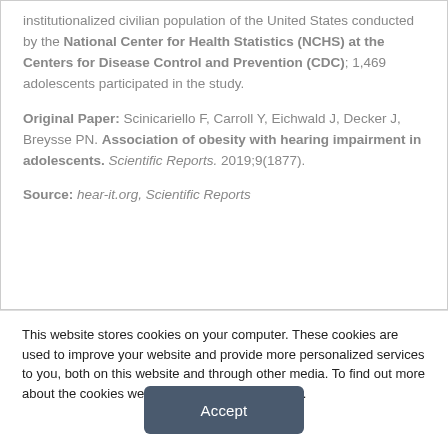institutionalized civilian population of the United States conducted by the National Center for Health Statistics (NCHS) at the Centers for Disease Control and Prevention (CDC); 1,469 adolescents participated in the study.
Original Paper: Scinicariello F, Carroll Y, Eichwald J, Decker J, Breysse PN. Association of obesity with hearing impairment in adolescents. Scientific Reports. 2019;9(1877).
Source: hear-it.org, Scientific Reports
This website stores cookies on your computer. These cookies are used to improve your website and provide more personalized services to you, both on this website and through other media. To find out more about the cookies we use, see our Privacy Policy.